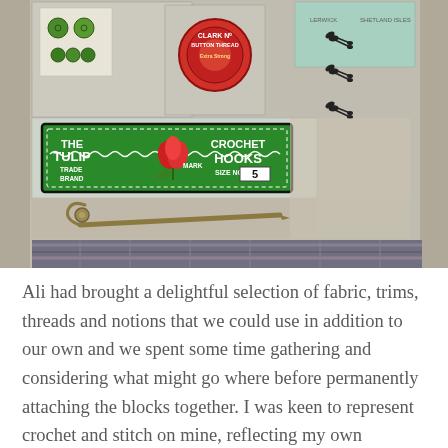[Figure (photo): A photograph of vintage sewing and craft notions laid out on a plaid fabric surface. Items include green buttons on a card, a red Clark NE Button Thread spool, small scissors, and a prominent green 'The Tulip Brand Trade Mark Crochet Hooks Size No. 5' label card with a red tulip logo. A large brass safety pin is also visible in the foreground.]
Ali had brought a delightful selection of fabric, trims, threads and notions that we could use in addition to our own and we spent some time gathering and considering what might go where before permanently attaching the blocks together. I was keen to represent crochet and stitch on mine, reflecting my own interests as well as